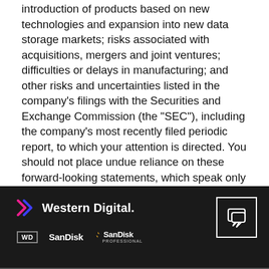introduction of products based on new technologies and expansion into new data storage markets; risks associated with acquisitions, mergers and joint ventures; difficulties or delays in manufacturing; and other risks and uncertainties listed in the company's filings with the Securities and Exchange Commission (the "SEC"), including the company's most recently filed periodic report, to which your attention is directed. You should not place undue reliance on these forward-looking statements, which speak only as of the date hereof, and the company undertakes no obligation to update these forward-looking statements to reflect subsequent events or circumstances.
Western Digital. WD SanDisk SanDisk PROFESSIONAL